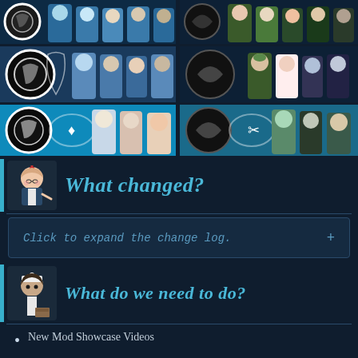[Figure (illustration): Top banner grid showing anime-style character art in two columns and three rows — blue-themed faction banners with multiple female characters in naval/military outfits]
What changed?
Click to expand the change log.
What do we need to do?
New Mod Showcase Videos
More of the basic lines that are often used, such as fire and flooding alarms, and ship sighting callouts.
More PvE Operations~! Cherry Blossom and Hermes